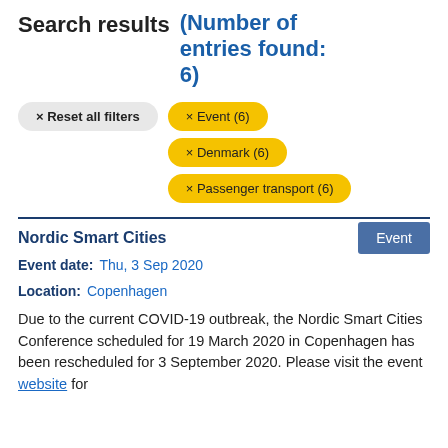Search results (Number of entries found: 6)
× Reset all filters
× Event (6)
× Denmark (6)
× Passenger transport (6)
Nordic Smart Cities
Event
Event date:  Thu, 3 Sep 2020
Location:  Copenhagen
Due to the current COVID-19 outbreak, the Nordic Smart Cities Conference scheduled for 19 March 2020 in Copenhagen has been rescheduled for 3 September 2020. Please visit the event website for